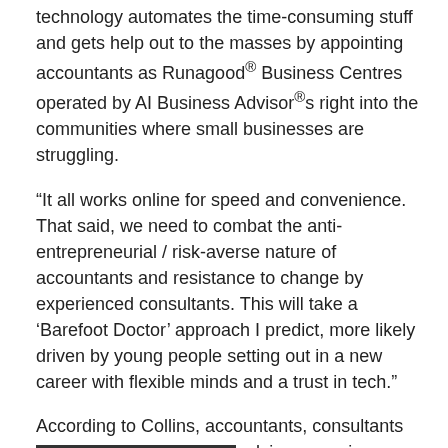What is strikingly different is about Runagood technology automates the time-consuming stuff and gets help out to the masses by appointing accountants as Runagood® Business Centres operated by AI Business Advisor®s right into the communities where small businesses are struggling.
“It all works online for speed and convenience. That said, we need to combat the anti-entrepreneurial / risk-averse nature of accountants and resistance to change by experienced consultants. This will take a ‘Barefoot Doctor’ approach I predict, more likely driven by young people setting out in a new career with flexible minds and a trust in tech.”
According to Collins, accountants, consultants and other small business advisors, are in a position to harness the power of AI right now but choose not to.